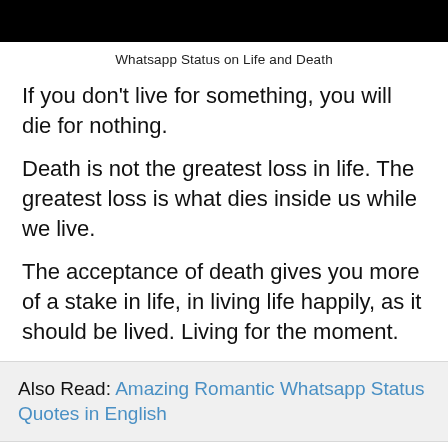Whatsapp Status on Life and Death
If you don't live for something, you will die for nothing.
Death is not the greatest loss in life. The greatest loss is what dies inside us while we live.
The acceptance of death gives you more of a stake in life, in living life happily, as it should be lived. Living for the moment.
Also Read: Amazing Romantic Whatsapp Status Quotes in English
The tragedy of life is not death but what we let die